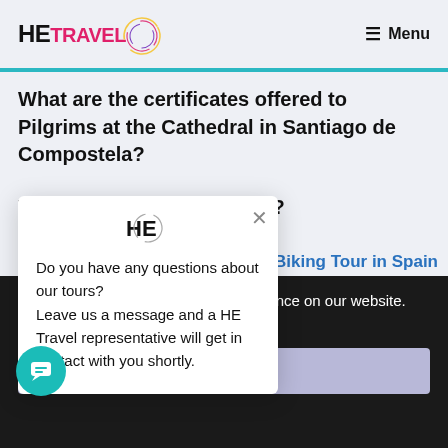HE TRAVEL — Menu
What are the certificates offered to Pilgrims at the Cathedral in Santiago de Compostela?
What will the hotels be like?
[Figure (other): HE Travel popup modal with message: Do you have any questions about our tours? Leave us a message and a HE Travel representative will get in contact with you shortly.]
Biking Tour in Spain
kies to ensure you get the best experience on our website.
Learn more
Got it!